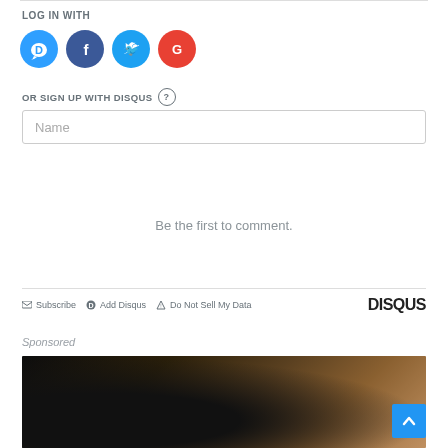LOG IN WITH
[Figure (logo): Social login icons: Disqus (blue), Facebook (dark blue), Twitter (light blue), Google (red)]
OR SIGN UP WITH DISQUS ?
Name
Be the first to comment.
Subscribe  Add Disqus  Do Not Sell My Data  DISQUS
Sponsored
[Figure (photo): Blurred photo of a dark object (appears to be a gavel or tool) held in a hand, with warm brown tones in background]